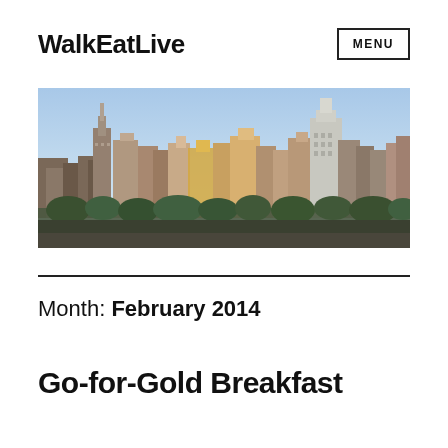WalkEatLive
[Figure (photo): Panoramic cityscape photo showing a city skyline with buildings against a blue sky, taken from an elevated vantage point showing rooftops and green trees in the foreground.]
Month: February 2014
Go-for-Gold Breakfast